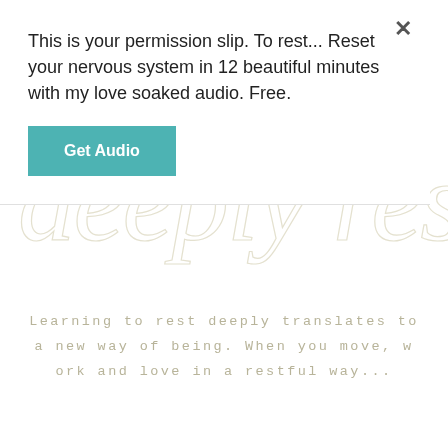[Figure (illustration): Decorative cursive/script watermark text reading 'deeply rest' in a light tan/gold color in the background]
This is your permission slip. To rest... Reset your nervous system in 12 beautiful minutes with my love soaked audio. Free.
Get Audio
Learning to rest deeply translates to a new way of being. When you move, work and love in a restful way...